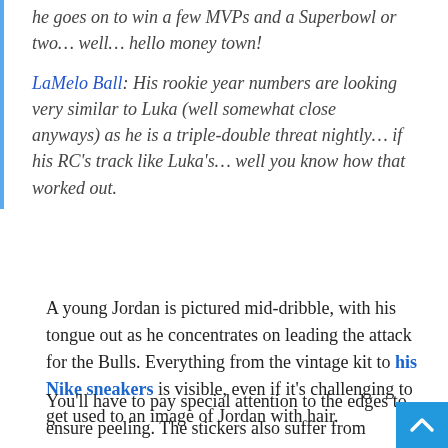he goes on to win a few MVPs and a Superbowl or two… well… hello money town!
LaMelo Ball: His rookie year numbers are looking very similar to Luka (well somewhat close anyways) as he is a triple-double threat nightly… if his RC's track like Luka's… well you know how that worked out.
A young Jordan is pictured mid-dribble, with his tongue out as he concentrates on leading the attack for the Bulls. Everything from the vintage kit to his Nike sneakers is visible, even if it's challenging to get used to an image of Jordan with hair.
You'll have to pay special attention to the edges to ensure peeling. The stickers also suffer from centering issues, which